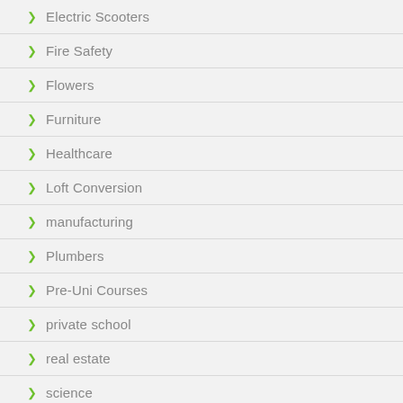Electric Scooters
Fire Safety
Flowers
Furniture
Healthcare
Loft Conversion
manufacturing
Plumbers
Pre-Uni Courses
private school
real estate
science